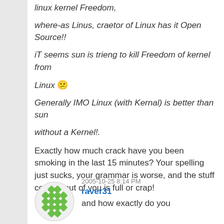linux kernel Freedom,
where-as Linus, craetor of Linux has it Open Source!!
iT seems sun is trieng to kill Freedom of kernel from
Linux 😕
Generally IMO Linux (with Kernal) is better than sun
without a Kernel!.
Exactly how much crack have you been smoking in the last 15 minutes? Your spelling just sucks, your grammar is worse, and the stuff coming out of you is full or crap!
2005-10-25 8:14 PM
raver31
and how exactly do you